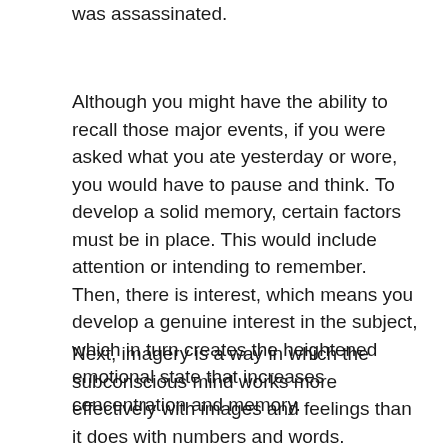was assassinated.
Although you might have the ability to recall those major events, if you were asked what you ate yesterday or wore, you would have to pause and think. To develop a solid memory, certain factors must be in place. This would include attention or intending to remember. Then, there is interest, which means you develop a genuine interest in the subject, which in turn creates the heightened emotional state that increases concentration and memory.
Next, imagery is a way in which the subconscious mind works more effectively with images and feelings than it does with numbers and words. Repetition is yet another factor. By experiencing